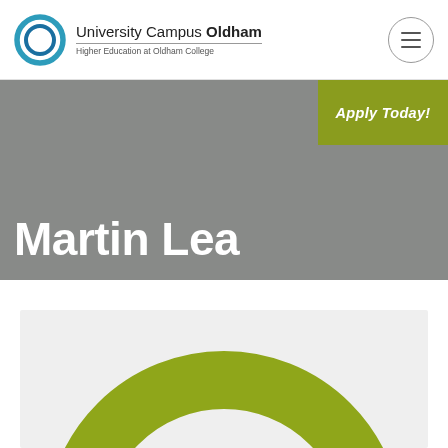University Campus Oldham — Higher Education at Oldham College
[Figure (logo): University Campus Oldham circular logo with blue concentric ring]
Apply Today!
Martin Lea
[Figure (illustration): Profile card with light grey background showing a large olive/green circular ring (UCO logo style) partially visible at bottom of card]